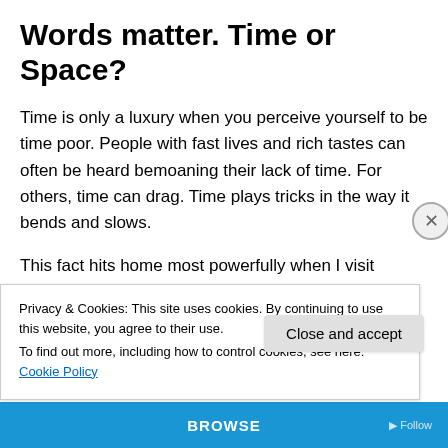Words matter. Time or Space?
Time is only a luxury when you perceive yourself to be time poor. People with fast lives and rich tastes can often be heard bemoaning their lack of time. For others, time can drag. Time plays tricks in the way it bends and slows.
This fact hits home most powerfully when I visit prison. My work regularly takes me inside prisons to meet young men who have been unlucky enough to find themselves on the wrong side of the law. There is a distinct absence of
Privacy & Cookies: This site uses cookies. By continuing to use this website, you agree to their use.
To find out more, including how to control cookies, see here: Cookie Policy
BROWSE